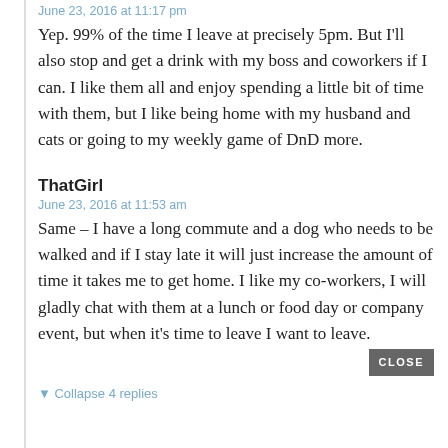June 23, 2016 at 11:17 pm
Yep. 99% of the time I leave at precisely 5pm. But I'll also stop and get a drink with my boss and coworkers if I can. I like them all and enjoy spending a little bit of time with them, but I like being home with my husband and cats or going to my weekly game of DnD more.
ThatGirl
June 23, 2016 at 11:53 am
Same – I have a long commute and a dog who needs to be walked and if I stay late it will just increase the amount of time it takes me to get home. I like my co-workers, I will gladly chat with them at a lunch or food day or company event, but when it's time to leave I want to leave.
▼ Collapse 4 replies